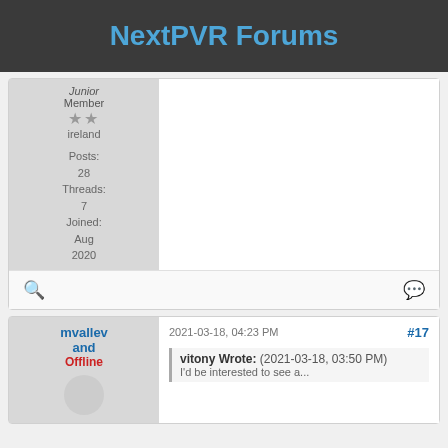NextPVR Forums
Junior Member
★★
ireland
Posts: 28
Threads: 7
Joined: Aug 2020
[Figure (screenshot): Forum post action bar with search icon and chat/reply icon]
mvallevand
Offline
2021-03-18, 04:23 PM
#17
vitony Wrote: (2021-03-18, 03:50 PM)